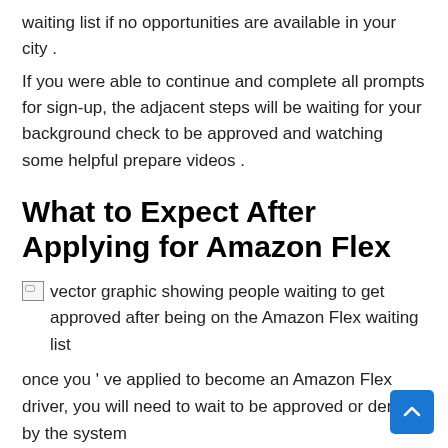waiting list if no opportunities are available in your city .
If you were able to continue and complete all prompts for sign-up, the adjacent steps will be waiting for your background check to be approved and watching some helpful prepare videos .
What to Expect After Applying for Amazon Flex
[Figure (illustration): vector graphic showing people waiting to get approved after being on the Amazon Flex waiting list]
once you ' ve applied to become an Amazon Flex driver, you will need to wait to be approved or denied by the system